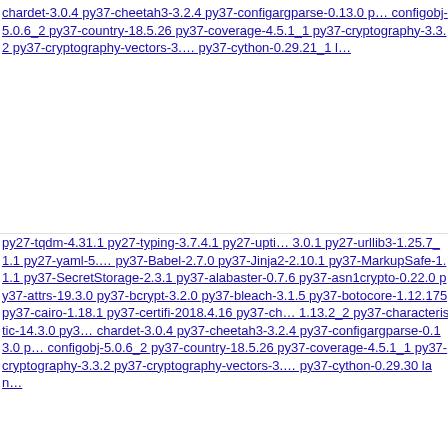chardet-3.0.4 py37-cheetah3-3.2.4 py37-configargparse-0.13.0 py37-configobj-5.0.6_2 py37-country-18.5.26 py37-coverage-4.5.1_1 py37-cryptography-3.3.2 py37-cryptography-vectors-3.x py37-cython-0.29.21_1 ...
py27-tqdm-4.31.1 py27-typing-3.7.4.1 py27-uptime-3.0.1 py27-urllib3-1.25.7_1.1 py27-yaml-5.x py37-Babel-2.7.0 py37-Jinja2-2.10.1 py37-MarkupSafe-1.1.1 py37-SecretStorage-2.3.1 py37-alabaster-0.7.6 py37-asn1crypto-0.22.0 py37-attrs-19.3.0 py37-bcrypt-3.2.0 py37-bleach-3.1.5 py37-botocore-1.12.175 py37-cairo-1.18.1 py37-certifi-2018.4.16 py37-cf-1.13.2_2 py37-characteristic-14.3.0 py37-chardet-3.0.4 py37-cheetah3-3.2.4 py37-configargparse-0.13.0 py37-configobj-5.0.6_2 py37-country-18.5.26 py37-coverage-4.5.1_1 py37-cryptography-3.3.2 py37-cryptography-vectors-3.x py37-cython-0.29.30 lang...
py27-uptime-3.0.1 py27-urllib3-1.25.7_1.1 py27-yaml-5.3.1 py37-Babel-2.x py37-Jinja2-2.10.1 py37-MarkupSafe-x...